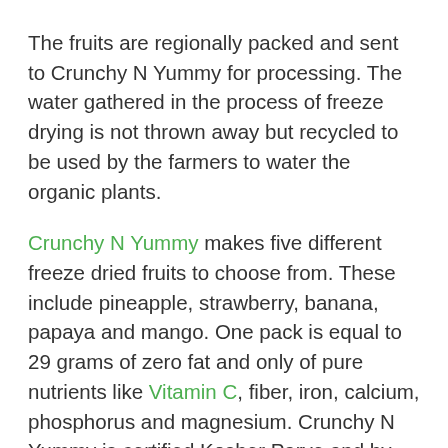The fruits are regionally packed and sent to Crunchy N Yummy for processing. The water gathered in the process of freeze drying is not thrown away but recycled to be used by the farmers to water the organic plants.
Crunchy N Yummy makes five different freeze dried fruits to choose from. These include pineapple, strawberry, banana, papaya and mango. One pack is equal to 29 grams of zero fat and only of pure nutrients like Vitamin C, fiber, iron, calcium, phosphorus and magnesium. Crunchy N Yummy is certified Kosher Parve and by the USDA Organic.
You can buy them online on Amazon.com and all